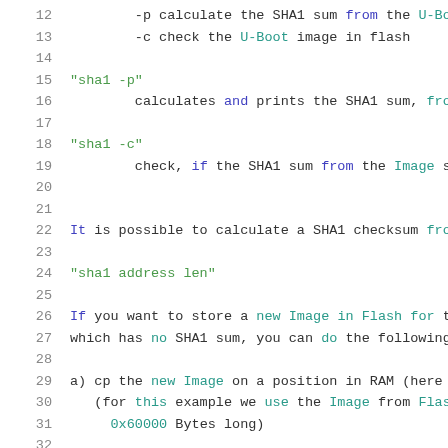12    -p calculate the SHA1 sum from the U-Boot
13    -c check the U-Boot image in flash
14
15  "sha1 -p"
16         calculates and prints the SHA1 sum, from
17
18  "sha1 -c"
19         check, if the SHA1 sum from the Image s
20
21
22  It is possible to calculate a SHA1 checksum from
23
24  "sha1 address len"
25
26  If you want to store a new Image in Flash for th
27  which has no SHA1 sum, you can do the following
28
29  a) cp the new Image on a position in RAM (here
30     (for this example we use the Image from Flash
31       0x60000 Bytes long)
32